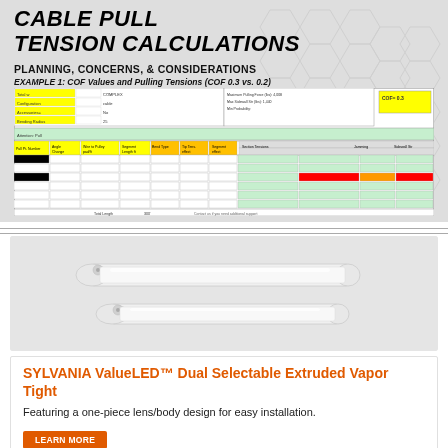CABLE PULL TENSION CALCULATIONS
PLANNING, CONCERNS, & CONSIDERATIONS
EXAMPLE 1: COF Values and Pulling Tensions (COF 0.3 vs. 0.2)
[Figure (table-as-image): Cable pull tension calculation spreadsheet showing COF values, pulling tensions, conduit sections with dimensions and tension values, with some cells highlighted in yellow, red, orange, and green.]
[Figure (photo): Two SYLVANIA ValueLED Dual Selectable Extruded Vapor Tight light fixtures shown against light grey background — one larger and one smaller, both white elongated tube-style fixtures.]
SYLVANIA ValueLED™ Dual Selectable Extruded Vapor Tight
Featuring a one-piece lens/body design for easy installation.